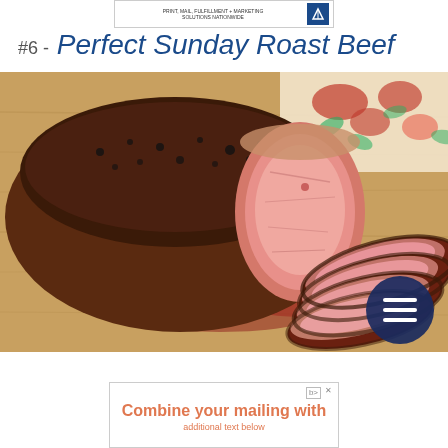[Figure (other): Top advertisement banner: white rectangle with text 'PRINT, MAIL, FULFILLMENT + MARKETING SOLUTIONS NATIONWIDE' and a blue logo icon on the right]
#6 - Perfect Sunday Roast Beef
[Figure (photo): Photograph of a sliced Sunday roast beef on a wooden cutting board. The large roast is pepper-crusted on the outside and pink/medium-rare on the inside, with several thin slices fanned out in front of it. A floral tablecloth is visible in the background. A dark navy circular menu button with three white horizontal lines (hamburger icon) is overlaid in the bottom-right corner of the photo.]
[Figure (other): Bottom advertisement banner with salmon/orange text reading 'Combine your mailing with' and additional text below, with small 'b>' and 'x' badges in top right corner]